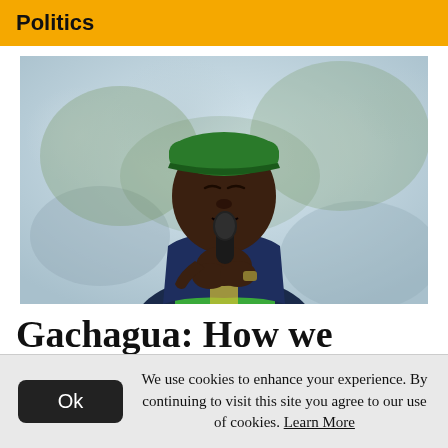Politics
[Figure (photo): A man wearing a green cap and a navy blue puffer vest over a green shirt, holding a microphone close to his mouth with both hands, speaking at an outdoor event. Background is blurred with trees.]
Gachagua: How we
We use cookies to enhance your experience. By continuing to visit this site you agree to our use of cookies. Learn More